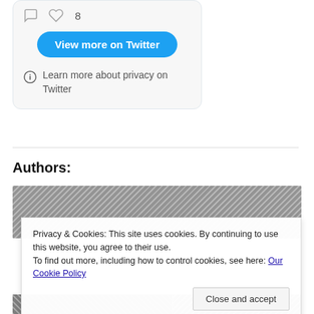[Figure (screenshot): Twitter embed widget showing comment and like icons with count of 8, a blue 'View more on Twitter' button, and a privacy info line with an info icon saying 'Learn more about privacy on Twitter']
View more on Twitter
Learn more about privacy on Twitter
Authors:
[Figure (photo): Black and white photo of authors, partially visible, outdoor setting with trees]
Privacy & Cookies: This site uses cookies. By continuing to use this website, you agree to their use.
To find out more, including how to control cookies, see here: Our Cookie Policy
Close and accept
[Figure (photo): Black and white portrait photos of authors at the bottom of the page, partially cut off]